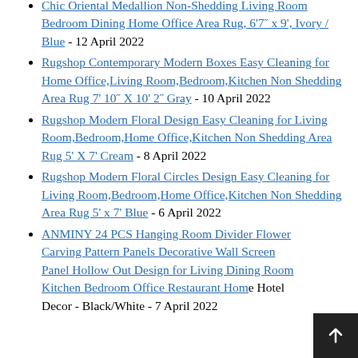Chic Oriental Medallion Non-Shedding Living Room Bedroom Dining Home Office Area Rug, 6'7" x 9', Ivory / Blue - 12 April 2022
Rugshop Contemporary Modern Boxes Easy Cleaning for Home Office,Living Room,Bedroom,Kitchen Non Shedding Area Rug 7' 10" X 10' 2" Gray - 10 April 2022
Rugshop Modern Floral Design Easy Cleaning for Living Room,Bedroom,Home Office,Kitchen Non Shedding Area Rug 5' X 7' Cream - 8 April 2022
Rugshop Modern Floral Circles Design Easy Cleaning for Living Room,Bedroom,Home Office,Kitchen Non Shedding Area Rug 5' x 7' Blue - 6 April 2022
ANMINY 24 PCS Hanging Room Divider Flower Carving Pattern Panels Decorative Wall Screen Panel Hollow Out Design for Living Dining Room Kitchen Bedroom Office Restaurant Home Hotel Decor - Black/White - 7 April 2022